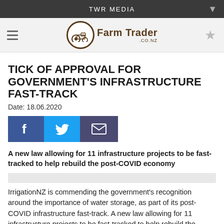TWR MEDIA
[Figure (logo): Farm Trader co.nz logo with tractor icon in circular border]
TICK OF APPROVAL FOR GOVERNMENT'S INFRASTRUCTURE FAST-TRACK
Date: 18.06.2020
[Figure (infographic): Social sharing buttons: Facebook (blue), Twitter (light blue), Email (dark purple)]
A new law allowing for 11 infrastructure projects to be fast-tracked to help rebuild the post-COVID economy
IrrigationNZ is commending the government's recognition around the importance of water storage, as part of its post-COVID infrastructure fast-track. A new law allowing for 11 infrastructure projects to be fast-tracked to help rebuild the